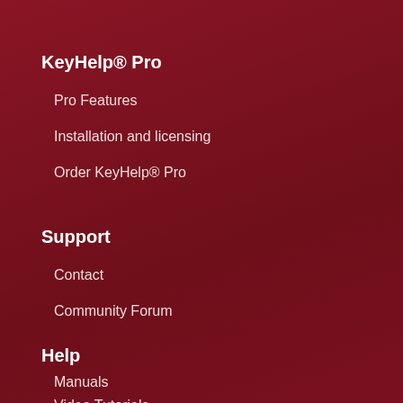KeyHelp® Pro
Pro Features
Installation and licensing
Order KeyHelp® Pro
Support
Contact
Community Forum
Help
Manuals
Video Tutorials
Operating System Upgrades